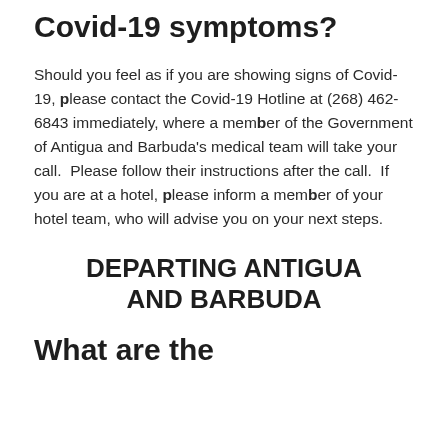Covid-19 symptoms?
Should you feel as if you are showing signs of Covid-19, please contact the Covid-19 Hotline at (268) 462-6843 immediately, where a member of the Government of Antigua and Barbuda's medical team will take your call.  Please follow their instructions after the call.  If you are at a hotel, please inform a member of your hotel team, who will advise you on your next steps.
DEPARTING ANTIGUA AND BARBUDA
What are the